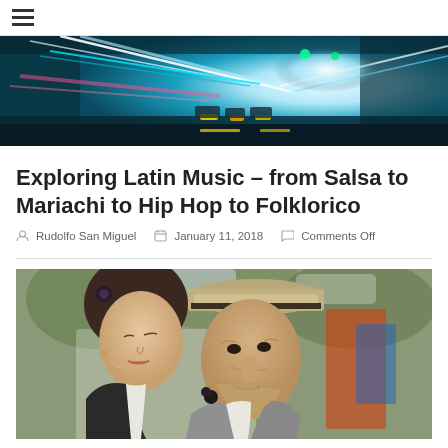≡ (hamburger menu)
[Figure (photo): Motion-blurred highway tunnel with cars and blue/teal light streaks]
Exploring Latin Music – from Salsa to Mariachi to Hip Hop to Folklorico
Rudolfo San Miguel   January 11, 2018   Comments Off
[Figure (photo): Elderly couple dancing closely outdoors, man wearing a tan fedora hat, woman with dark flower hair accessory]